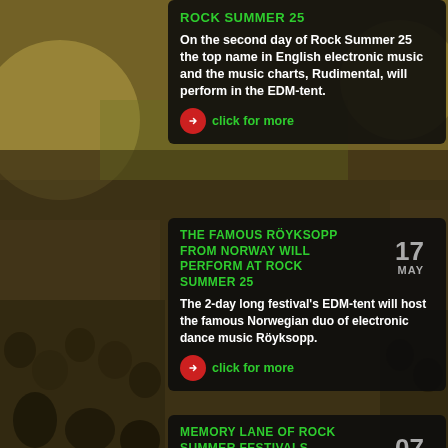[Figure (photo): Background photo of a large outdoor music festival crowd with warm vintage tones, green fields and stage visible in upper portion]
ROCK SUMMER 25
On the second day of Rock Summer 25 the top name in English electronic music and the music charts, Rudimental, will perform in the EDM-tent.
click for more
THE FAMOUS RÖYKSOPP FROM NORWAY WILL PERFORM AT ROCK SUMMER 25
The 2-day long festival's EDM-tent will host the famous Norwegian duo of electronic dance music Röyksopp.
click for more
MEMORY LANE OF ROCK SUMMER FESTIVALS